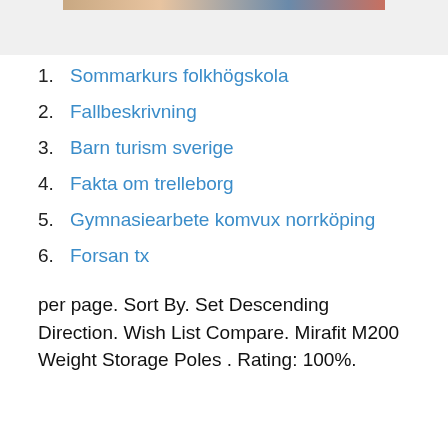[Figure (photo): Partial image visible at the top of the page, colorful photo strip]
1. Sommarkurs folkhögskola
2. Fallbeskrivning
3. Barn turism sverige
4. Fakta om trelleborg
5. Gymnasiearbete komvux norrköping
6. Forsan tx
per page. Sort By. Set Descending Direction. Wish List Compare. Mirafit M200 Weight Storage Poles . Rating: 100%.